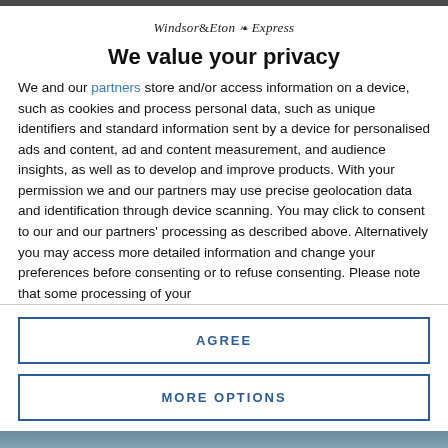[Figure (logo): Windsor & Eton Express newspaper logo]
We value your privacy
We and our partners store and/or access information on a device, such as cookies and process personal data, such as unique identifiers and standard information sent by a device for personalised ads and content, ad and content measurement, and audience insights, as well as to develop and improve products. With your permission we and our partners may use precise geolocation data and identification through device scanning. You may click to consent to our and our partners' processing as described above. Alternatively you may access more detailed information and change your preferences before consenting or to refuse consenting. Please note that some processing of your
AGREE
MORE OPTIONS